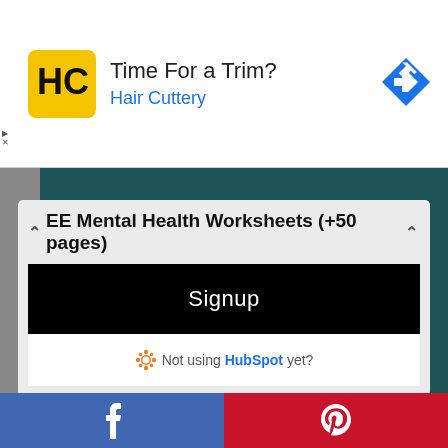[Figure (screenshot): Ad banner for Hair Cuttery with yellow logo, text 'Time For a Trim?' and blue 'Hair Cuttery' subtitle, blue diamond arrow icon on right]
[Figure (screenshot): Popup modal with header 'EE Mental Health Worksheets (+50 pages)', black Signup button, and HubSpot link row]
[Figure (screenshot): Book cover section showing teal/dark green background with text 'THE', 'SET', 'BOUNDARIES']
[Figure (screenshot): Social share bar at bottom with Facebook (blue) and Pinterest (red) icons]